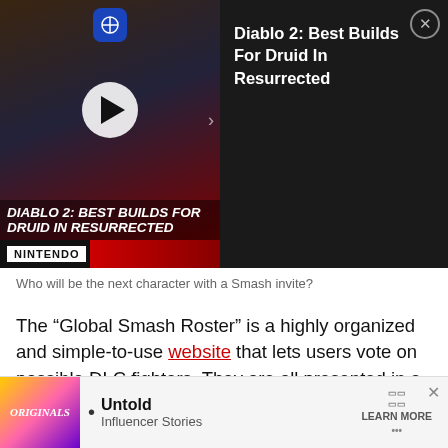[Figure (screenshot): Video player overlay showing Diablo 2 Druid build thumbnail with play button, sidebar showing title 'Diablo 2: Best Builds For Druid In Resurrected' and close button, Nintendo branding bar below]
Who will be the next character with a Smash invite?
The “Global Smash Roster” is a highly organized and simple-to-use website that lets users vote on possible DLC fighters. They are all presented in a way that mimics the character select screen from Smash, making it look super unique.
Read More: Multiple fan-favorite Smash Ultimate DLC fighters possibly ruled out
That a
[Figure (screenshot): Advertisement banner for 'Originals - Untold Influencer Stories' with colorful thumbnail]